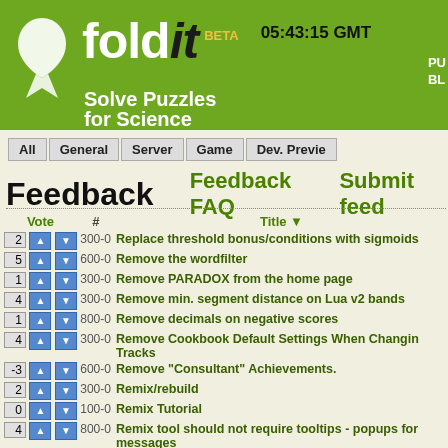fold it BETA 05:43:15 GMT Solve Puzzles for Science
All | General | Server | Game | Dev. Preview
Feedback
Feedback FAQ
Submit feed
| Vote | # | Title |
| --- | --- | --- |
| 2 | 300-0 | Replace threshold bonus/conditions with sigmoids |
| 5 | 600-0 | Remove the wordfilter |
| 1 | 300-0 | Remove PARADOX from the home page |
| 4 | 300-0 | Remove min. segment distance on Lua v2 bands |
| 1 | 800-0 | Remove decimals on negative scores |
| 4 | 300-0 | Remove Cookbook Default Settings When Changing Tracks |
| -3 | 600-0 | Remove "Consultant" Achievements. |
| 2 | 300-0 | Remix/rebuild |
| 0 | 100-0 | Remix Tutorial |
| 4 | 800-0 | Remix tool should not require tooltips - popups for messages |
| 4 | 300-0 | Remix to work on the ending segments as well? |
| 11 | 800-0 | Relative scoring display. |